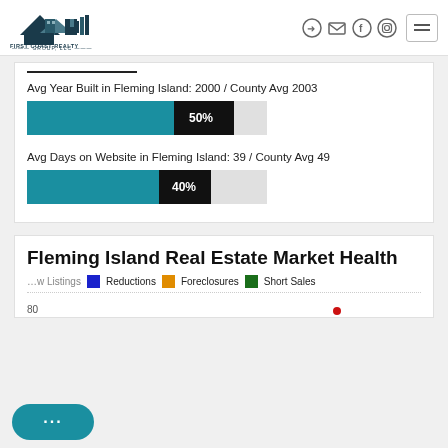[Figure (logo): First Coast Realty Group LLC logo with house/building silhouette]
Avg Year Built in Fleming Island: 2000 / County Avg 2003
[Figure (bar-chart): Avg Year Built]
Avg Days on Website in Fleming Island: 39 / County Avg 49
[Figure (bar-chart): Avg Days on Website]
Fleming Island Real Estate Market Health
New Listings  Reductions  Foreclosures  Short Sales
80